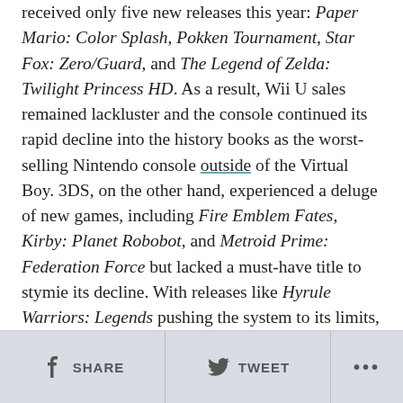received only five new releases this year: Paper Mario: Color Splash, Pokken Tournament, Star Fox: Zero/Guard, and The Legend of Zelda: Twilight Princess HD. As a result, Wii U sales remained lackluster and the console continued its rapid decline into the history books as the worst-selling Nintendo console outside of the Virtual Boy. 3DS, on the other hand, experienced a deluge of new games, including Fire Emblem Fates, Kirby: Planet Robobot, and Metroid Prime: Federation Force but lacked a must-have title to stymie its decline. With releases like Hyrule Warriors: Legends pushing the system to its limits, the shortcomings of Nintendo's five year old handheld are becoming more evident, and its need to be retired more apparent with each passing year.
SHARE  TWEET  ...